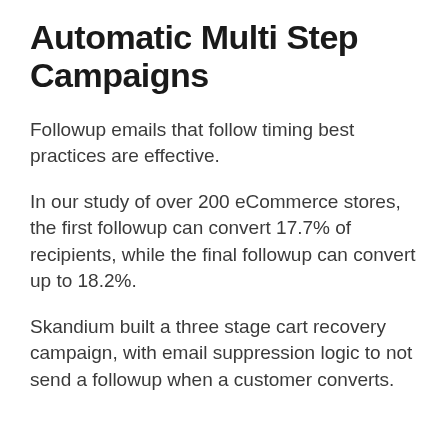Automatic Multi Step Campaigns
Followup emails that follow timing best practices are effective.
In our study of over 200 eCommerce stores, the first followup can convert 17.7% of recipients, while the final followup can convert up to 18.2%.
Skandium built a three stage cart recovery campaign, with email suppression logic to not send a followup when a customer converts.